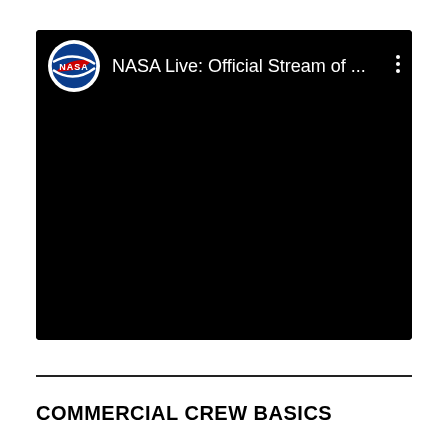[Figure (screenshot): YouTube-style video thumbnail showing a black video screen with NASA logo and title 'NASA Live: Official Stream of ...' with three-dot menu icon in the upper right]
COMMERCIAL CREW BASICS